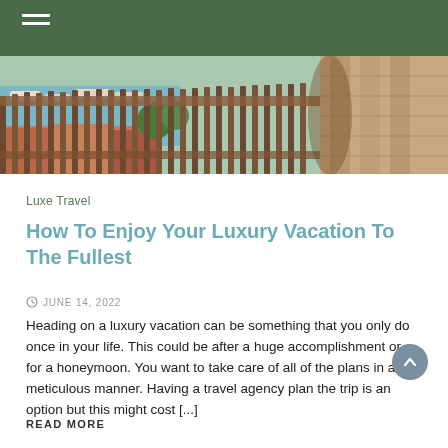[Figure (photo): Aerial/scenic view of a coastal town with a wooden fence railing in the foreground, boats and colorful rooftops visible below, and a stone archway on the right]
Luxe Travel
How To Enjoy Your Luxury Vacation To The Fullest
JUNE 14, 2022
Heading on a luxury vacation can be something that you only do once in your life. This could be after a huge accomplishment or for a honeymoon. You want to take care of all of the plans in a meticulous manner. Having a travel agency plan the trip is an option but this might cost [...]
READ MORE